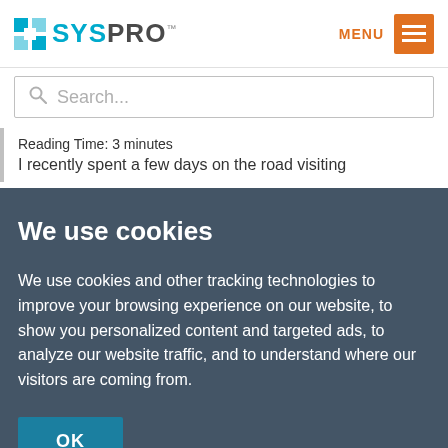[Figure (logo): SYSPRO logo with teal/cyan square icon and bold dark text]
MENU
Search...
Reading Time: 3 minutes
I recently spent a few days on the road visiting
We use cookies
We use cookies and other tracking technologies to improve your browsing experience on our website, to show you personalized content and targeted ads, to analyze our website traffic, and to understand where our visitors are coming from.
OK